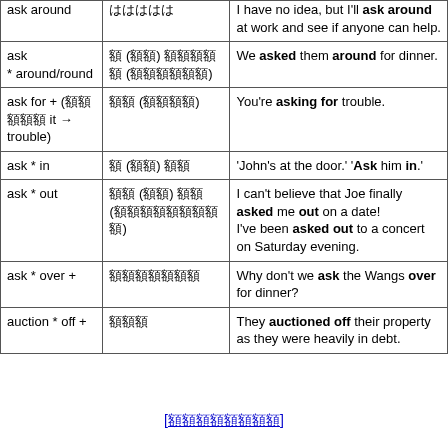| ask around | ははははは | I have no idea, but I'll ask around at work and see if anyone can help. |
| ask * around/round | 誘 (誰) 在誰誰誰 (誰誰誰誰誰) | We asked them around for dinner. |
| ask for + (誰誰誰誰誰 it → trouble) | 誰誰 (誰誰誰) | You're asking for trouble. |
| ask * in | 誰 (誰誰) 誰誰 | 'John's at the door.' 'Ask him in.' |
| ask * out | 誰誰 (誰誰) 誰誰 (誰誰誰誰誰誰誰誰誰) | I can't believe that Joe finally asked me out on a date! I've been asked out to a concert on Saturday evening. |
| ask * over + | 誰誰誰誰誰誰誰 | Why don't we ask the Wangs over for dinner? |
| auction * off + | 誰誰誰 | They auctioned off their property as they were heavily in debt. |
[誰誰誰誰誰誰誰誰]